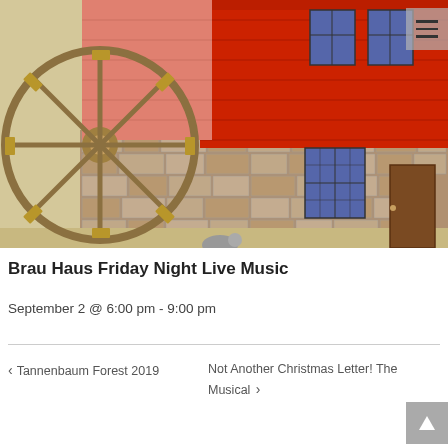[Figure (illustration): Colorful illustration of a red watermill building with a large wooden waterwheel on the left side. Stone foundation, red wooden upper structure, windows with blue panes, and a brown door visible.]
Brau Haus Friday Night Live Music
September 2 @ 6:00 pm - 9:00 pm
< Tannenbaum Forest 2019
Not Another Christmas Letter! The Musical >